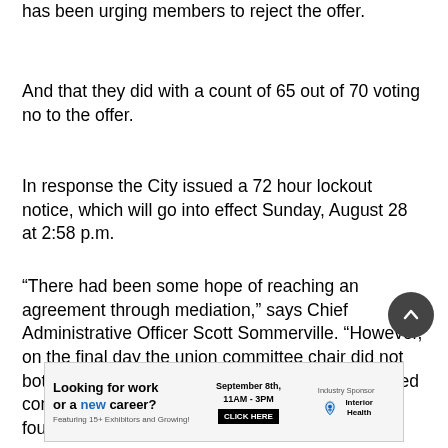has been urging members to reject the offer.
And that they did with a count of 65 out of 70 voting no to the offer.
In response the City issued a 72 hour lockout notice, which will go into effect Sunday, August 28 at 2:58 p.m.
“There had been some hope of reaching an agreement through mediation,” says Chief Administrative Officer Scott Sommerville. “However, on the final day the union committee chair did not bother to attend the mediation and the union added conditions to the previous day’s agreement on a four-year term. This along with the rejection of a
[Figure (infographic): Advertisement banner: Looking for work or a new career? Featuring 15+ Exhibitors and Growing! September 8th, 11AM-3PM CLICK HERE. Industry Sponsor: Interior Health logo.]